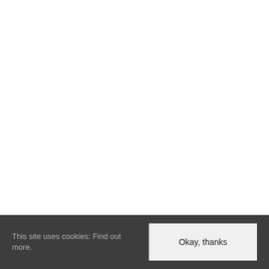This site uses cookies: Find out more.
Okay, thanks